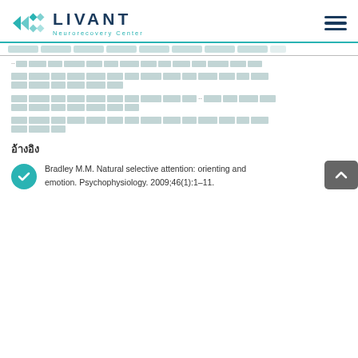[Figure (logo): Livant Neurorecovery Center logo with teal geometric icon and hamburger menu icon on the right]
Navigation bar with menu items
[Thai text paragraph - navigation breadcrumb line]
[Thai text paragraph 1 - two lines of Thai script body text]
[Thai text paragraph 2 - two lines of Thai script body text with ellipsis]
[Thai text paragraph 3 - two lines of Thai script body text]
อ้างอิง
Bradley M.M. Natural selective attention: orienting and emotion. Psychophysiology. 2009;46(1):1–11.